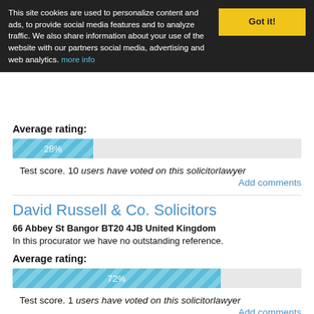This site cookies are used to personalize content and ads, to provide social media features and to analyze traffic. We also share information about your use of the website with our partners social media, advertising and web analytics. more info
Average rating:
[Figure (bar-chart): Average rating 28%]
Test score. 10 users have voted on this solicitorlawyer
Add comments
David Russell & Co. Solicitors
66 Abbey St Bangor BT20 4JB United Kingdom
In this procurator we have no outstanding reference.
Average rating:
[Figure (bar-chart): Average rating 72%]
Test score. 1 users have voted on this solicitorlawyer
Add comments